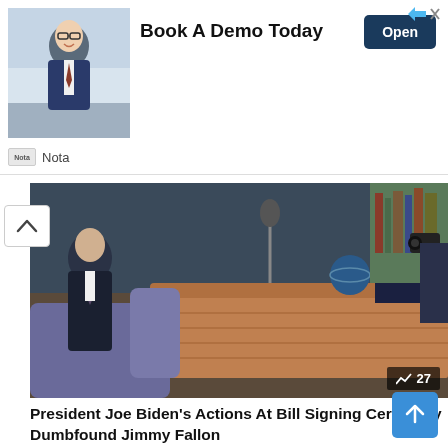[Figure (screenshot): Advertisement banner showing a man in glasses seated at a desk, with 'Book A Demo Today' text and an 'Open' button, branded as Nota]
[Figure (photo): Photo from a TV talk show set, showing a man in a dark suit and tie seated in front of a wooden desk with studio equipment visible. Trending indicator shows 27.]
President Joe Biden's Actions At Bill Signing Ceremony Dumbfound Jimmy Fallon
[Figure (photo): Photo of a smiling blonde woman flexing her arm muscle, with another fist visible on the right side.]